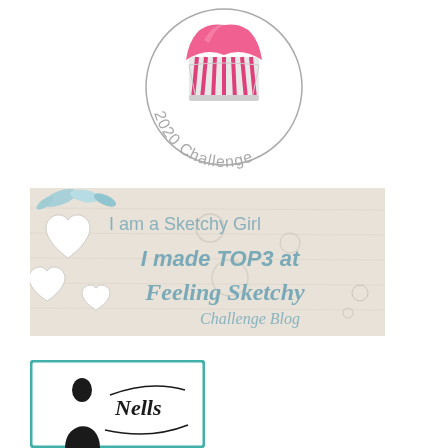[Figure (logo): Circular badge with a pink cupcake illustration and text '2020 Challenge' arranged in an arc along the bottom]
[Figure (illustration): Horizontal banner with light wood background, decorative hearts and blue foliage on left side, text reading 'I am a Sketchy Girl' and 'I made TOP3 at Feeling Sketchy Challenge Blog' in blue lettering]
[Figure (logo): Square logo with teal border showing a silhouette of a person and decorative flourish text, partial view]